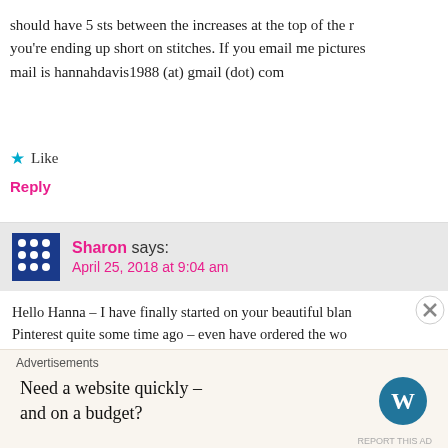should have 5 sts between the increases at the top of the r you're ending up short on stitches. If you email me pictures mail is hannahdavis1988 (at) gmail (dot) com
★ Like
Reply
Sharon says:
April 25, 2018 at 9:04 am
Hello Hanna – I have finally started on your beautiful blan Pinterest quite some time ago – even have ordered the wo do the Chevron/Ripple rows and have run into the same p to report that a your Row 32 is not correct. Where you stat stitch" it should read 1 sc, as decreasing 3 sts in Row 31 a two rows. Prior to this, I ripped out its, reread your instru the above comments to see if anyone else found this to b in Row 32 by sc 7 between the 3 sc at the top of the tri
Advertisements
Need a website quickly – and on a budget?